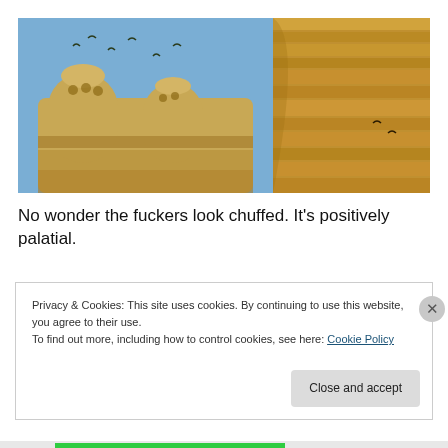[Figure (photo): Two side-by-side photos of an ornate round mud-brick/adobe tower structure with decorative patterned brickwork and domed turrets; birds visible in blue sky on left photo; close-up of upper curved wall on right photo.]
No wonder the fuckers look chuffed. It's positively palatial.
Privacy & Cookies: This site uses cookies. By continuing to use this website, you agree to their use.
To find out more, including how to control cookies, see here: Cookie Policy
Close and accept